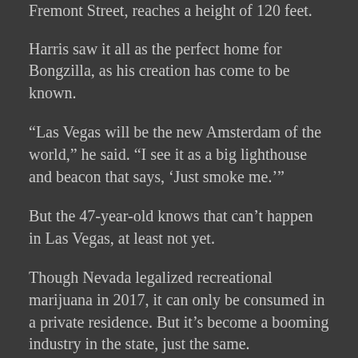Fremont Street, reaches a height of 120 feet.
Harris saw it all as the perfect home for Bongzilla, as his creation has come to be known.
“Las Vegas will be the new Amsterdam of the world,” he said. “I see it as a big lighthouse and beacon that says, ‘Just smoke me.’”
But the 47-year-old knows that can’t happen in Las Vegas, at least not yet.
Though Nevada legalized recreational marijuana in 2017, it can only be consumed in a private residence. But it’s become a booming industry in the state, just the same.
This week, the Nevada Department of Taxation released numbers that showed that for the first full fiscal year, marijuana sales yielded tax collections totaling $69.8 million — 140% of what the state had